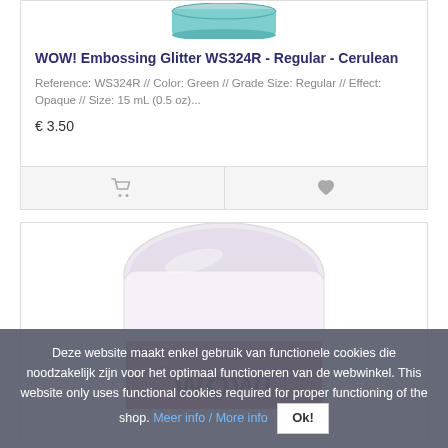[Figure (photo): Top of a teal/cerulean embossing glitter jar lid, partially cropped at top of card]
WOW! Embossing Glitter WS324R - Regular - Cerulean
Reference: WS324R // Color: Green // Grade Size: Regular // Effect: Opaque // Size: 15 mL (0.5 oz)...
€ 3.50
[Figure (photo): Pink/red glitter embossing powder jar with transparent lid and WOW! branding label, partially cropped]
Deze website maakt enkel gebruik van functionele cookies die noodzakelijk zijn voor het optimaal functioneren van de webwinkel. This website only uses functional cookies required for proper functioning of the shop. Meer info / More info  Ok!